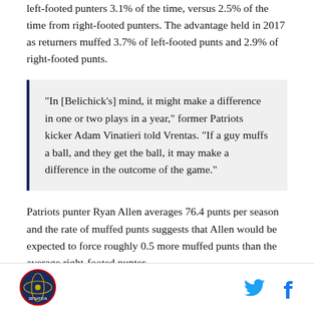left-footed punters 3.1% of the time, versus 2.5% of the time from right-footed punters. The advantage held in 2017 as returners muffed 3.7% of left-footed punts and 2.9% of right-footed punts.
“In [Belichick’s] mind, it might make a difference in one or two plays in a year,” former Patriots kicker Adam Vinatieri told Vrentas. “If a guy muffs a ball, and they get the ball, it may make a difference in the outcome of the game.”
Patriots punter Ryan Allen averages 76.4 punts per season and the rate of muffed punts suggests that Allen would be expected to force roughly 0.5 more muffed punts than the average right-footed punter.
[Figure (logo): Circular sports logo in bottom left footer]